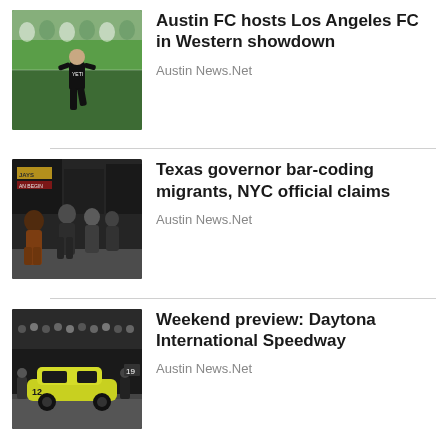[Figure (photo): Soccer player in black Austin FC kit running on green field with crowd in background]
Austin FC hosts Los Angeles FC in Western showdown
Austin News.Net
[Figure (photo): Group of migrants walking on a city street with storefronts visible in background]
Texas governor bar-coding migrants, NYC official claims
Austin News.Net
[Figure (photo): NASCAR pit crew working on a yellow racing car at Daytona International Speedway with crowd visible]
Weekend preview: Daytona International Speedway
Austin News.Net